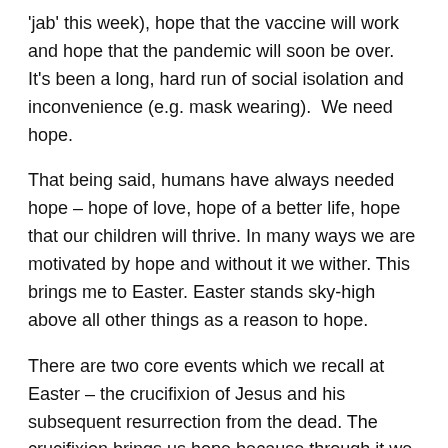'jab' this week), hope that the vaccine will work and hope that the pandemic will soon be over. It's been a long, hard run of social isolation and inconvenience (e.g. mask wearing).  We need hope.
That being said, humans have always needed hope – hope of love, hope of a better life, hope that our children will thrive. In many ways we are motivated by hope and without it we wither. This brings me to Easter. Easter stands sky-high above all other things as a reason to hope.
There are two core events which we recall at Easter – the crucifixion of Jesus and his subsequent resurrection from the dead. The crucifixion brings us hope because through it we are assured of forgiveness and reconciliation to God (see 2 Cor. 5:18-21). The resurrection gives us hope